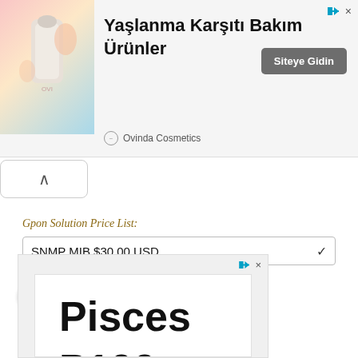[Figure (other): Top advertisement banner for Ovinda Cosmetics anti-aging skincare products with Turkish text 'Yaşlanma Karşıtı Bakım Ürünler' and a 'Siteye Gidin' button]
[Figure (other): Collapse/accordion toggle button with an upward-pointing chevron]
Gpon Solution Price List:
SNMP MIB $30.00 USD
[Figure (other): PayPal Buy Now button with payment card icons (VISA, Mastercard, American Express, Discover, MasterCard Maestro)]
[Figure (other): Second advertisement banner showing 'Pisces P100' product]